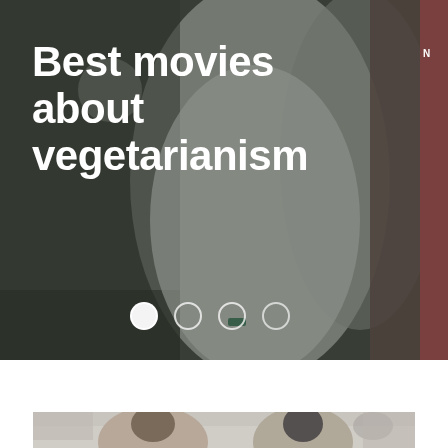[Figure (photo): Hero banner with background photo of chefs in white uniforms in a kitchen, darkened overlay. Contains large white bold title text 'Best movies about vegetarianism' and four carousel navigation dots at the bottom (first dot filled/active).]
Best movies about vegetarianism
[Figure (photo): Partial bottom strip showing two people (a woman and a man) in what appears to be a kitchen setting, partially visible at the bottom of the page.]